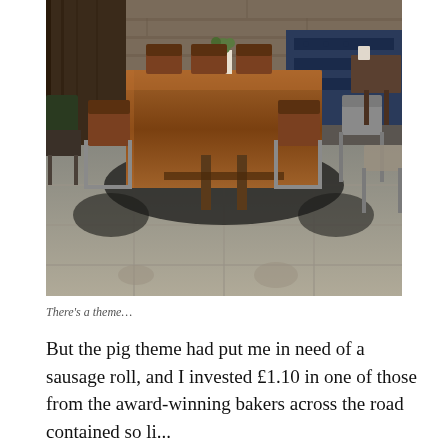[Figure (photo): Interior of a cafe or restaurant showing a long wooden communal table with metal-legged chairs on a tiled stone floor. Brick wall in the background, blue upholstered booth seating on the right, dark wooden chairs on the left. Dramatic shadows cast on the floor.]
There's a theme…
But the pig theme had put me in need of a sausage roll, and I invested £1.10 in one of those from the award-winning bakers across the road contained so li...